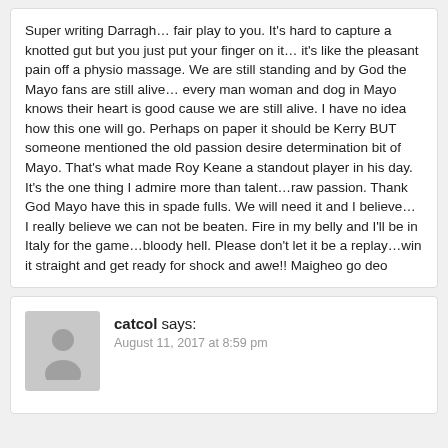Super writing Darragh… fair play to you. It's hard to capture a knotted gut but you just put your finger on it… it's like the pleasant pain off a physio massage. We are still standing and by God the Mayo fans are still alive… every man woman and dog in Mayo knows their heart is good cause we are still alive. I have no idea how this one will go. Perhaps on paper it should be Kerry BUT someone mentioned the old passion desire determination bit of Mayo. That's what made Roy Keane a standout player in his day. It's the one thing I admire more than talent…raw passion. Thank God Mayo have this in spade fulls. We will need it and I believe… I really believe we can not be beaten. Fire in my belly and I'll be in Italy for the game…bloody hell. Please don't let it be a replay…win it straight and get ready for shock and awe!! Maigheo go deo
catcol says:
August 11, 2017 at 8:59 pm